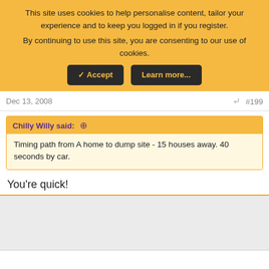This site uses cookies to help personalise content, tailor your experience and to keep you logged in if you register. By continuing to use this site, you are consenting to our use of cookies.
Dec 13, 2008  #199
Chilly Willy said: ↑
Timing path from A home to dump site - 15 houses away. 40 seconds by car.
You're quick!